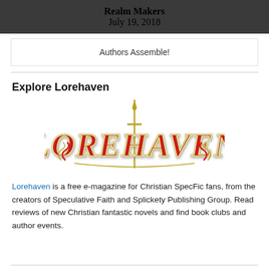Realm Makers
July 19, 2018
Authors Assemble!
Explore Lorehaven
[Figure (logo): Lorehaven fantasy-styled logo in red and gold lettering with a sword motif]
Lorehaven is a free e-magazine for Christian SpecFic fans, from the creators of Speculative Faith and Splickety Publishing Group. Read reviews of new Christian fantastic novels and find book clubs and author events.